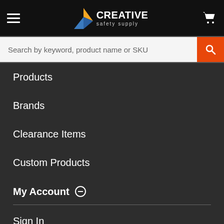Creative Safety Supply — Navigation
Search by keyword, product name or SKU
Products
Brands
Clearance Items
Custom Products
My Account
Sign In
Quick Order
Edit / Cancel Orders
Provide Feedback